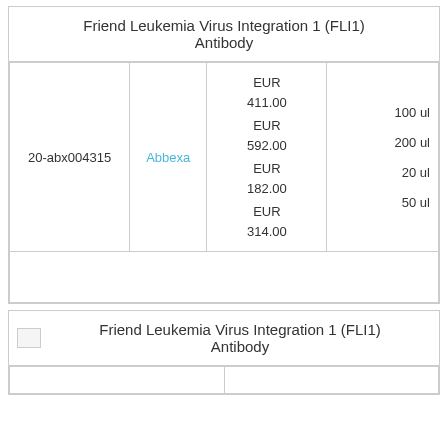Friend Leukemia Virus Integration 1 (FLI1) Antibody
|  | Vendor | Price | Size |
| --- | --- | --- | --- |
| 20-abx004315 | Abbexa | EUR 411.00
EUR 592.00
EUR 182.00
EUR 314.00 | 100 ul
200 ul
20 ul
50 ul |
|  |  |  |  |
Friend Leukemia Virus Integration 1 (FLI1) Antibody